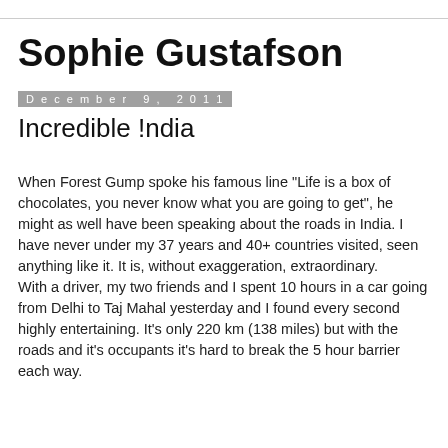Sophie Gustafson
December 9, 2011
Incredible !ndia
When Forest Gump spoke his famous line "Life is a box of chocolates, you never know what you are going to get", he might as well have been speaking about the roads in India. I have never under my 37 years and 40+ countries visited, seen anything like it. It is, without exaggeration, extraordinary.
With a driver, my two friends and I spent 10 hours in a car going from Delhi to Taj Mahal yesterday and I found every second highly entertaining. It's only 220 km (138 miles) but with the roads and it's occupants it's hard to break the 5 hour barrier each way.